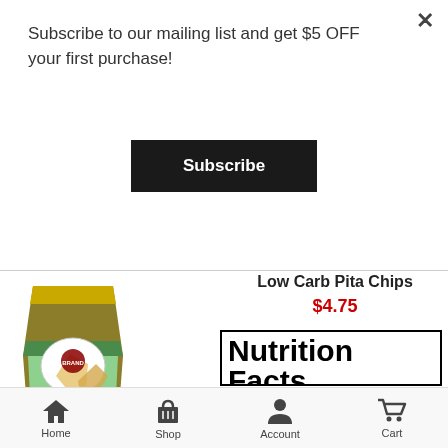Subscribe to our mailing list and get $5 OFF your first purchase!
Subscribe
Low Carb Pita Chips
$4.75
[Figure (photo): Bag of Low Carb Pita Chips product]
| Nutrition Facts |
| 6 servings per container |
| Serving size | 1 oz (28g) |
| Amount Per Serving |
| Calories | 130 |
| % Daily Value* |
| Total Fat |  |
Home  Shop  Account  Cart